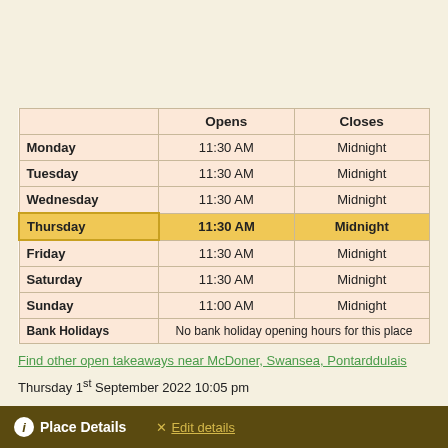|  | Opens | Closes |
| --- | --- | --- |
| Monday | 11:30 AM | Midnight |
| Tuesday | 11:30 AM | Midnight |
| Wednesday | 11:30 AM | Midnight |
| Thursday | 11:30 AM | Midnight |
| Friday | 11:30 AM | Midnight |
| Saturday | 11:30 AM | Midnight |
| Sunday | 11:00 AM | Midnight |
| Bank Holidays | No bank holiday opening hours for this place |  |
Find other open takeaways near McDoner, Swansea, Pontarddulais
Thursday 1st September 2022 10:05 pm
Place Details   Edit details